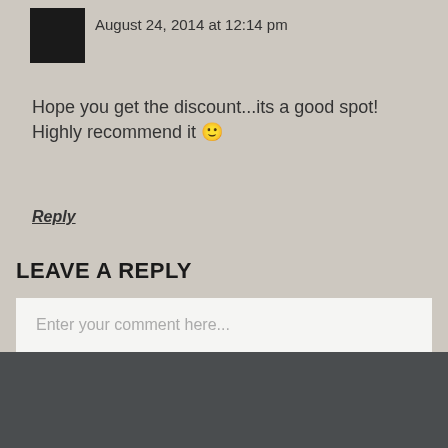August 24, 2014 at 12:14 pm
Hope you get the discount...its a good spot! Highly recommend it 🙂
Reply
LEAVE A REPLY
Enter your comment here...
BACK TO TOP ↑